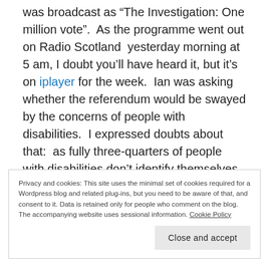was broadcast as “The Investigation: One million vote”.  As the programme went out on Radio Scotland  yesterday morning at 5 am, I doubt you’ll have heard it, but it’s on iplayer for the week.  Ian was asking whether the referendum would be swayed by the concerns of people with disabilities.  I expressed doubts about that:  as fully three-quarters of people with disabilities don’t identify themselves as being disabled, it’s hard to mobilise people around the issues.  There is no ‘disability vote’.  But disability
Privacy and cookies: This site uses the minimal set of cookies required for a Wordpress blog and related plug-ins, but you need to be aware of that, and consent to it. Data is retained only for people who comment on the blog. The accompanying website uses sessional information. Cookie Policy